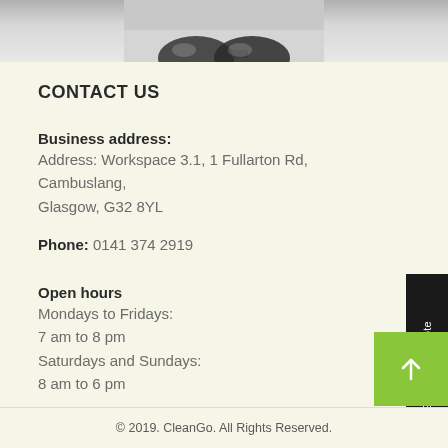[Figure (photo): Partial photo showing what appears to be glasses or a reflective object, cropped at top of page]
CONTACT US
Business address: Address: Workspace 3.1, 1 Fullarton Rd, Cambuslang, Glasgow, G32 8YL
Phone: 0141 374 2919
Open hours
Mondays to Fridays:
7 am to 8 pm
Saturdays and Sundays:
8 am to 6 pm
© 2019. CleanGo. All Rights Reserved.